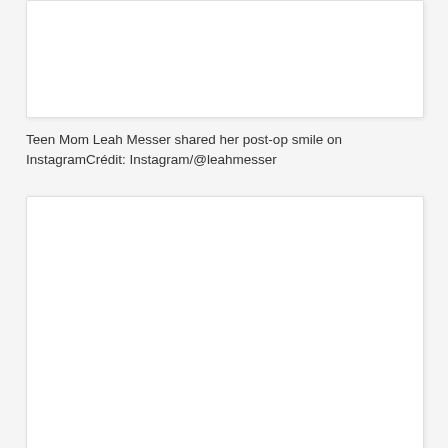[Figure (photo): A white rectangular image placeholder box at the top of the page]
Teen Mom Leah Messer shared her post-op smile on InstagramCrédit: Instagram/@leahmesser
[Figure (photo): A white rectangular image placeholder box at the bottom of the page]